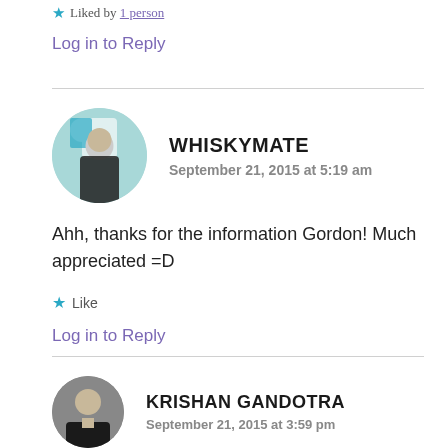Liked by 1 person
Log in to Reply
WHISKYMATE
September 21, 2015 at 5:19 am
Ahh, thanks for the information Gordon! Much appreciated =D
Like
Log in to Reply
KRISHAN GANDOTRA
September 21, 2015 at 3:59 pm